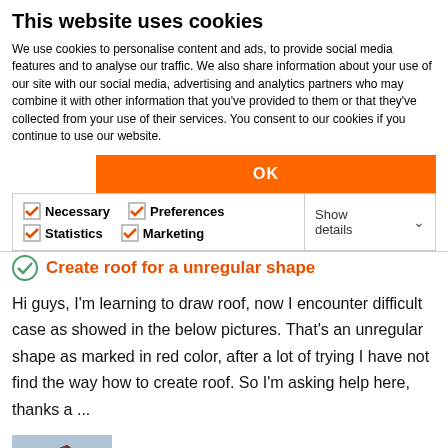This website uses cookies
We use cookies to personalise content and ads, to provide social media features and to analyse our traffic. We also share information about your use of our site with our social media, advertising and analytics partners who may combine it with other information that you've provided to them or that they've collected from your use of their services. You consent to our cookies if you continue to use our website.
OK
Necessary  Preferences  Statistics  Marketing  Show details
Create roof for a unregular shape
Hi guys, I'm learning to draw roof, now I encounter difficult case as showed in the below pictures. That's an unregular shape as marked in red color, after a lot of trying I have not find the way how to create roof. So I'm asking help here, thanks a ...
[Figure (photo): Thumbnail image of a 3D roof model with dark brown/reddish irregular shape]